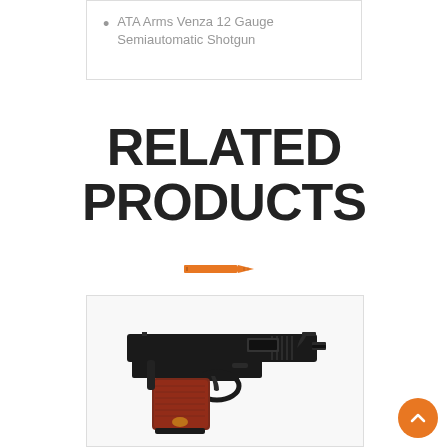ATA Arms Venza 12 Gauge Semiautomatic Shotgun
RELATED PRODUCTS
[Figure (illustration): Orange bullet/cartridge icon used as a decorative separator]
[Figure (photo): Photo of a Browning 1911 style semi-automatic pistol with dark finish and wood grip panels]
[Figure (illustration): Orange circular scroll-to-top button with upward chevron arrow]